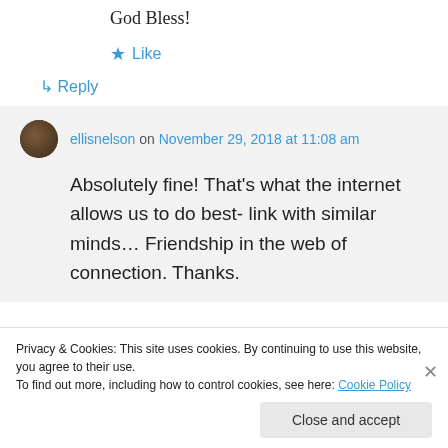God Bless!
★ Like
↳ Reply
ellisnelson on November 29, 2018 at 11:08 am
Absolutely fine! That's what the internet allows us to do best- link with similar minds… Friendship in the web of connection. Thanks.
Privacy & Cookies: This site uses cookies. By continuing to use this website, you agree to their use.
To find out more, including how to control cookies, see here: Cookie Policy
Close and accept